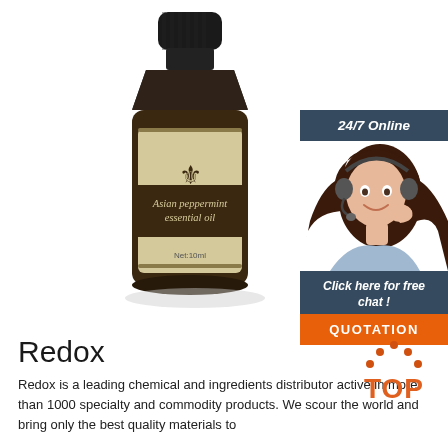[Figure (photo): A small amber glass bottle of Asian peppermint essential oil with a black dropper cap, labeled 'Asian peppermint essential oil, Net:10ml', set against a white background.]
[Figure (infographic): 24/7 Online chat widget with a woman wearing a headset, a 'Click here for free chat!' italic text, and an orange QUOTATION button, on a dark blue-grey background.]
Redox
[Figure (logo): TOP logo: orange dots arranged in an arch above the word TOP in orange bold text.]
Redox is a leading chemical and ingredients distributor active in more than 1000 specialty and commodity products. We scour the world and bring only the best quality materials to